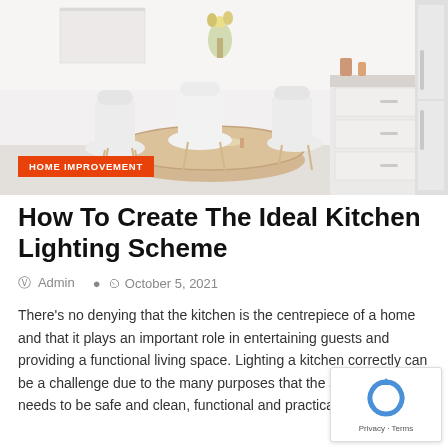[Figure (photo): Bright white modern kitchen interior with round wooden dining table, white molded chairs, white cabinetry with silver handles, flowers in a vase, and a gray refrigerator on the right side]
HOME IMPROVEMENT
How To Create The Ideal Kitchen Lighting Scheme
Admin   October 5, 2021
There's no denying that the kitchen is the centrepiece of a home and that it plays an important role in entertaining guests and providing a functional living space. Lighting a kitchen correctly can be a challenge due to the many purposes that the space serves. It needs to be safe and clean, functional and practical, [...]
[Figure (logo): Google reCAPTCHA logo with Privacy and Terms links]